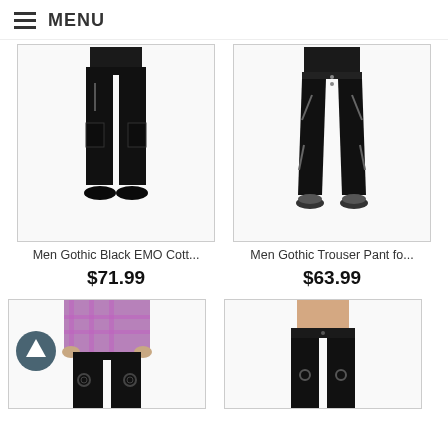≡ MENU
[Figure (photo): Person wearing Men Gothic Black EMO Cotton cargo pants with zippers, black pants full length]
[Figure (photo): Person wearing Men Gothic Trouser Pant with multiple zippers, slim fit black pants]
Men Gothic Black EMO Cott...
$71.99
Men Gothic Trouser Pant fo...
$63.99
[Figure (photo): Person wearing gothic black pants with harness/ring details and plaid shirt]
[Figure (photo): Person wearing gothic black pants with ring hardware details]